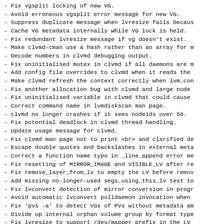- Fix vgsplit locking of new VG.
- Avoid erroneous vgsplit error message for new VG.
- Suppress duplicate message when lvresize fails becaus
- Cache VG metadata internally while VG lock is held.
- Fix redundant lvresize message if vg doesn't exist.
- Make clvmd-cman use a hash rather than an array for m
- Decode numbers in clvmd debugging output.
- Fix uninitialised mutex in clvmd if all daemons are m
- Add config file overrides to clvmd when it reads the
- Make clvmd refresh the context correctly when lvm.con
- Fix another allocation bug with clvmd and large node
- Fix uninitialised variable in clvmd that could cause
- Correct command name in lvmdiskscan man page.
- clvmd no longer crashes if it sees nodeids over 50.
- Fix potential deadlock in clvmd thread handling.
- Update usage message for clvmd.
- Fix clvmd man page not to print <br> and clarified de
- Escape double quotes and backslashes in external meta
- Correct a function name typo in _line_append error me
- Fix resetting of MIRROR_IMAGE and VISIBLE_LV after re
- Fix remove_layer_from_lv to empty the LV before remov
- Add missing no-longer-used segs_using_this_lv test to
- Fix lvconvert detection of mirror conversion in progr
- Avoid automatic lvconvert polldaemon invocation when
- Fix 'pvs -a' to detect VGs of PVs without metadata am
- Divide up internal orphan volume group by format type
- Fix lvresize to support /dev/mapper prefix in the LV
- Fix lvresize to pass new size to fsadm when extending
- Fix unfilled parameter passed to fsadm from lvresize (
- Update fsadm to call lvresize if the partition size c